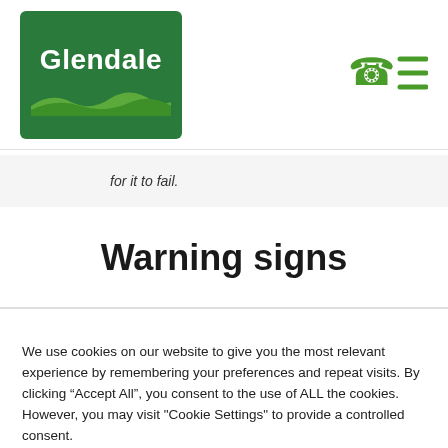[Figure (logo): Glendale logo: white text 'Glendale' on green rectangle with white wave graphic at bottom]
[Figure (other): Green phone icon and green hamburger menu icon in top right navigation]
for it to fail.
Warning signs
We use cookies on our website to give you the most relevant experience by remembering your preferences and repeat visits. By clicking “Accept All”, you consent to the use of ALL the cookies. However, you may visit "Cookie Settings" to provide a controlled consent.